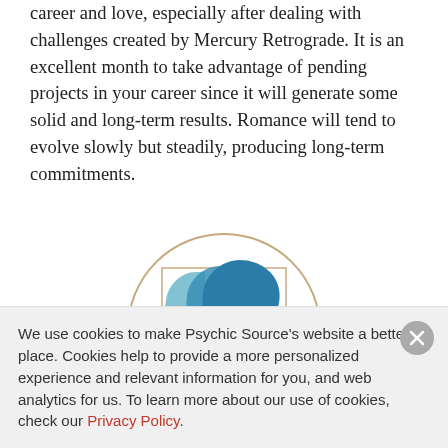career and love, especially after dealing with challenges created by Mercury Retrograde. It is an excellent month to take advantage of pending projects in your career since it will generate some solid and long-term results. Romance will tend to evolve slowly but steadily, producing long-term commitments.
[Figure (illustration): Gemini zodiac symbol: three overlapping blue human profile silhouettes (faces looking left/right) inside a circle with an inner square frame, tan/beige circular border outline]
We use cookies to make Psychic Source's website a better place. Cookies help to provide a more personalized experience and relevant information for you, and web analytics for us. To learn more about our use of cookies, check our Privacy Policy.